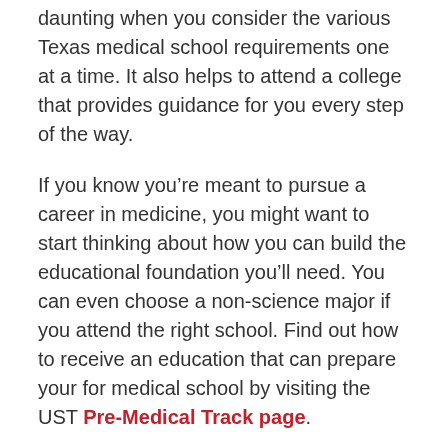daunting when you consider the various Texas medical school requirements one at a time. It also helps to attend a college that provides guidance for you every step of the way.
If you know you’re meant to pursue a career in medicine, you might want to start thinking about how you can build the educational foundation you’ll need. You can even choose a non-science major if you attend the right school. Find out how to receive an education that can prepare your for medical school by visiting the UST Pre-Medical Track page.
Ready to take the next